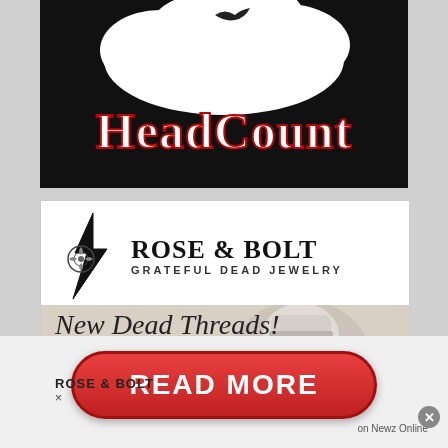[Figure (logo): HeadCount logo — white steam locomotive silhouette on black background with stylized red plaid 'HeadCount' text in large bold serif font]
[Figure (logo): Rose & Bolt Grateful Dead Jewelry advertisement — logo with lightning bolt and rose graphic, text 'ROSE & BOLT' and 'GRATEFUL DEAD JEWELRY', cursive text 'New Dead Threads!', 'ROSE & BOLT' and 'x' below on patterned winter background with person wearing knit hat]
[Figure (infographic): Red 'READ MORE' button call-to-action bar at page bottom with close (x) button and 'on Newz Online' text]